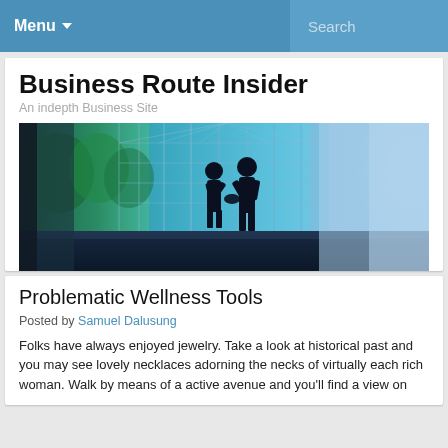Menu ▾   Search
Business Route Insider
An indepth Business Site
[Figure (photo): Two businessmen in silhouette shaking hands in front of large windows with a cityscape and blue-toned building reflections]
Problematic Wellness Tools
Posted by Samuel Dalusung
Folks have always enjoyed jewelry. Take a look at historical past and you may see lovely necklaces adorning the necks of virtually each rich woman. Walk by means of a active avenue and you'll find a view on